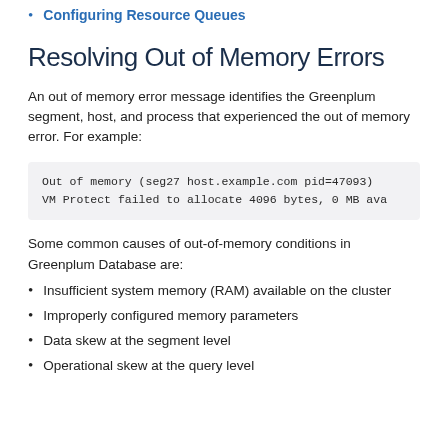Configuring Resource Queues
Resolving Out of Memory Errors
An out of memory error message identifies the Greenplum segment, host, and process that experienced the out of memory error. For example:
[Figure (screenshot): Code block showing: Out of memory (seg27 host.example.com pid=47093)
VM Protect failed to allocate 4096 bytes, 0 MB ava]
Some common causes of out-of-memory conditions in Greenplum Database are:
Insufficient system memory (RAM) available on the cluster
Improperly configured memory parameters
Data skew at the segment level
Operational skew at the query level